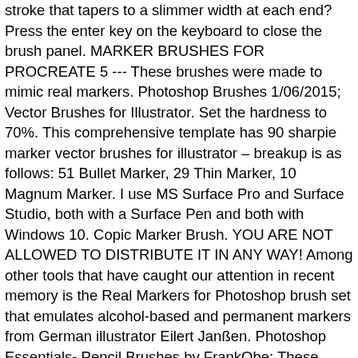stroke that tapers to a slimmer width at each end? Press the enter key on the keyboard to close the brush panel. MARKER BRUSHES FOR PROCREATE 5 --- These brushes were made to mimic real markers. Photoshop Brushes 1/06/2015; Vector Brushes for Illustrator. Set the hardness to 70%. This comprehensive template has 90 sharpie marker vector brushes for illustrator – breakup is as follows: 51 Bullet Marker, 29 Thin Marker, 10 Magnum Marker. I use MS Surface Pro and Surface Studio, both with a Surface Pen and both with Windows 10. Copic Marker Brush. YOU ARE NOT ALLOWED TO DISTRIBUTE IT IN ANY WAY! Among other tools that have caught our attention in recent memory is the Real Markers for Photoshop brush set that emulates alcohol-based and permanent markers from German illustrator Eilert Janßen. Photoshop Essentials- Pencil Brushes by FrankQbe: These contain pencils, inks, storyboard brushes, and markers. 1. hello@procreate.brushes.work. I like sketching with pencils. Now, with a wide range of realistic pencil brushes, designers can get the same results in a fraction of the time. Those are great for painting effect, pen drawing, Chinese art, spray, wet edge or grunge effect. 25 High Resolution Marker Pen Brushes. Product details 0 Comments. Recources Adobe Photoshop Art Marker Brushes by Kyle T +Free Download. Another natural media brushes by pebe1234. Previous; Next; Leave a Reply Cancel reply. 2K Favourites. Free Ink Splatter Photoshop Brushes 14 – Bold High-Resolution Compositions. Plus